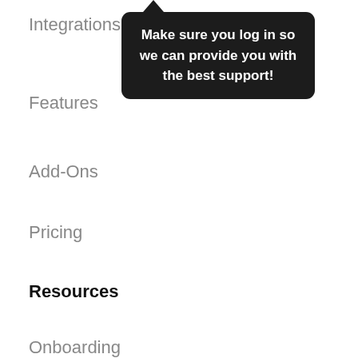Integrations
[Figure (screenshot): Tooltip popup with dark background reading: Make sure you log in so we can provide you with the best support!]
Features
Add-Ons
Pricing
Resources
Onboarding
Reviews
Nonprofits
Education
iPaaS Report